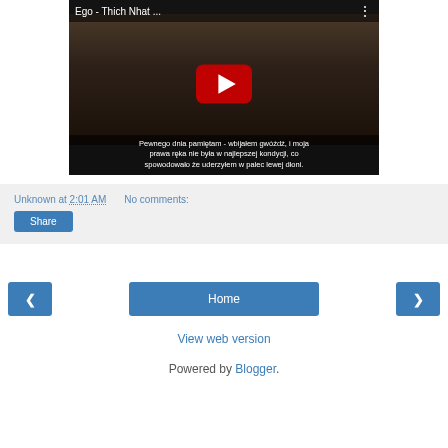[Figure (screenshot): YouTube video thumbnail showing two people in dark robes, with title 'Ego - Thich Nhat ...' and a Polish subtitle: 'Pewnego dnia pamiętam - wbijałem gwóźdź, i moja prawa ręka nie była w najlepszej kondycji, co spowodowało że uderzyłem w palec lewej dłoni.']
Unknown at 2:01 AM   No comments:
Share
‹
Home
›
View web version
Powered by Blogger.